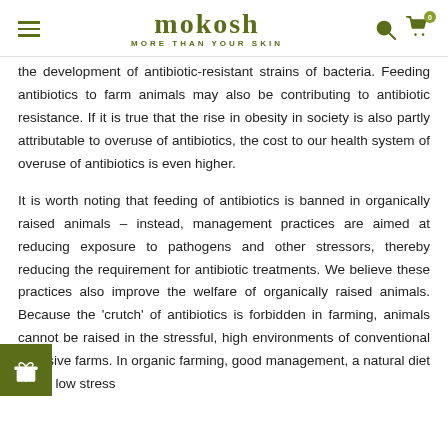mokosh MORE THAN YOUR SKIN
the development of antibiotic-resistant strains of bacteria. Feeding antibiotics to farm animals may also be contributing to antibiotic resistance. If it is true that the rise in obesity in society is also partly attributable to overuse of antibiotics, the cost to our health system of overuse of antibiotics is even higher.
It is worth noting that feeding of antibiotics is banned in organically raised animals – instead, management practices are aimed at reducing exposure to pathogens and other stressors, thereby reducing the requirement for antibiotic treatments. We believe these practices also improve the welfare of organically raised animals. Because the 'crutch' of antibiotics is forbidden in farming, animals cannot be raised in the stressful, high environments of conventional intensive farms. In organic farming, good management, a natural diet and a low stress